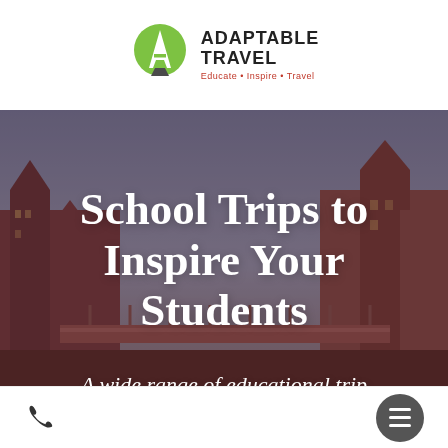[Figure (logo): Adaptable Travel logo: green circle with white A letter, bold text 'ADAPTABLE TRAVEL', red tagline 'Educate • Inspire • Travel']
[Figure (photo): Hero image of historic European city buildings (likely London Tower Bridge area) with reddish-brown tint overlay, featuring large white text overlay 'School Trips to Inspire Your Students' and subtitle 'A wide range of educational trip']
School Trips to Inspire Your Students
A wide range of educational trip